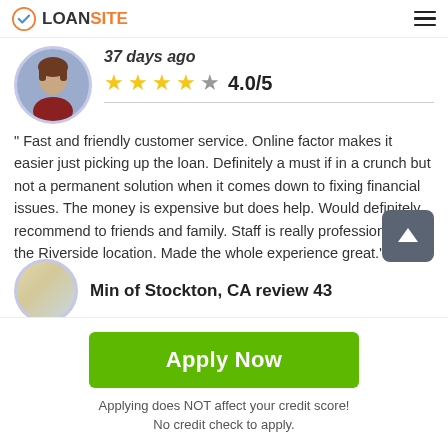LOANSITE
37 days ago
4.0/5
" Fast and friendly customer service. Online factor makes it easier just picking up the loan. Definitely a must if in a crunch but not a permanent solution when it comes down to fixing financial issues. The money is expensive but does help. Would definitely recommend to friends and family. Staff is really professional at the Riverside location. Made the whole experience great."
Min of Stockton, CA review 43
Apply Now
Applying does NOT affect your credit score!
No credit check to apply.